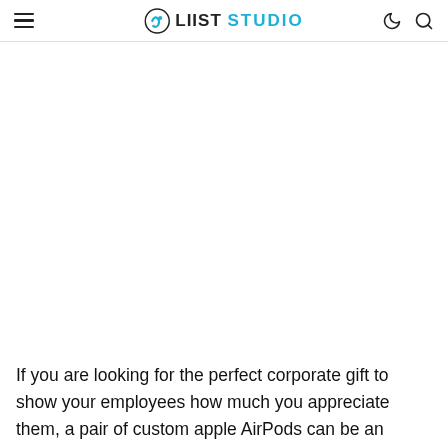LIIST STUDIO
[Figure (photo): Large white/blank image area below the navigation header, likely a product or article image placeholder]
If you are looking for the perfect corporate gift to show your employees how much you appreciate them, a pair of custom apple AirPods can be an exciting one. This pair of